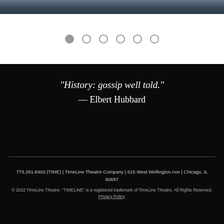[Figure (photo): Partial photo strip at top of page showing objects on a wooden surface, appears to be books or leather items]
[Figure (other): Slideshow navigation dots: one filled (active) dot followed by five empty circle dots]
“History: gossip well told.” — Elbert Hubbard
773.281.8463 (TIME) | TimeLine Theatre Company | 615 West Wellington Ave | Chicago, IL 60657
© 2022 TimeLine Theatre. "TIMELINE" is a registered trademark of TimeLine Theatre. All Rights Reserved. Privacy Policy.